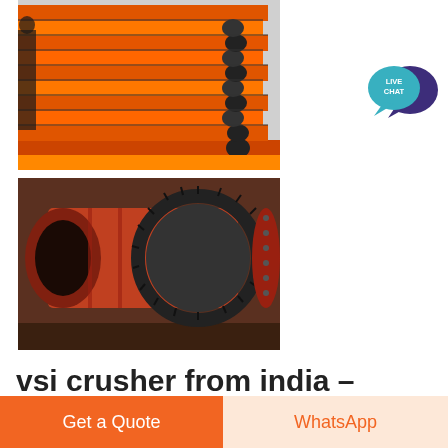[Figure (photo): Stack of orange industrial conveyor belt frames with black rollers, stored in a warehouse or yard]
[Figure (photo): Close-up of an orange industrial ball mill or drum with large gear ring/teeth visible, used in mining or grinding operations]
[Figure (illustration): Live Chat speech bubble icon in teal/blue colors]
vsi crusher from india –
Get a Quote
WhatsApp